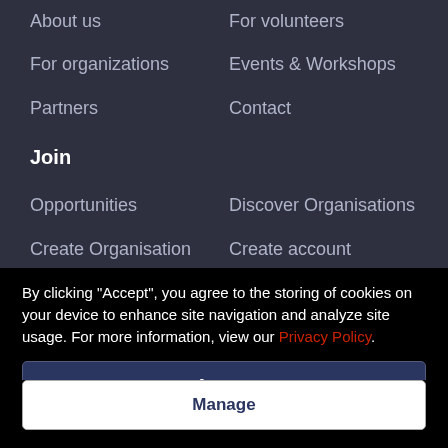About us
For volunteers
For organizations
Events & Workshops
Partners
Contact
Join
Opportunities
Discover Organisations
Create Organisation
Create account
Login
Help
Policies
Privacy Policy
By clicking "Accept", you agree to the storing of cookies on your device to enhance site navigation and analyze site usage. For more information, view our Privacy Policy.
Accept
Manage